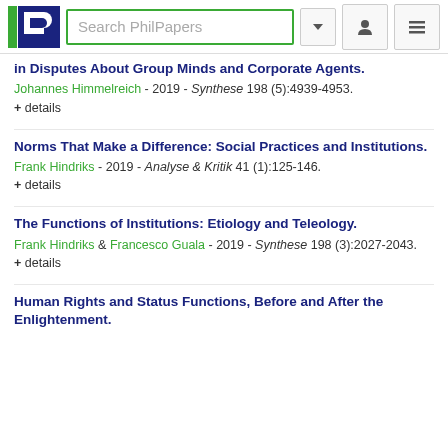Search PhilPapers
in Disputes About Group Minds and Corporate Agents.
Johannes Himmelreich - 2019 - Synthese 198 (5):4939-4953.
+ details
Norms That Make a Difference: Social Practices and Institutions.
Frank Hindriks - 2019 - Analyse & Kritik 41 (1):125-146.
+ details
The Functions of Institutions: Etiology and Teleology.
Frank Hindriks & Francesco Guala - 2019 - Synthese 198 (3):2027-2043.
+ details
Human Rights and Status Functions, Before and After the Enlightenment.